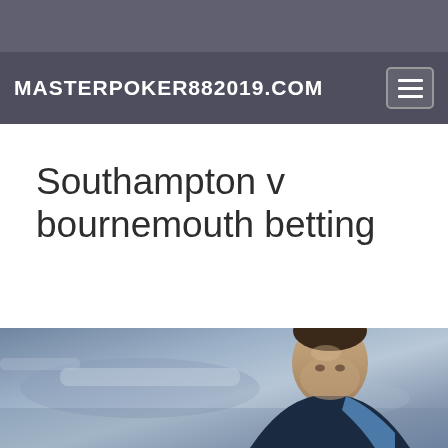MASTERPOKER882019.COM
Southampton v bournemouth betting
[Figure (photo): A young male footballer with short hair wearing a dark navy blue tracksuit jacket with a light blue stripe, photographed outdoors against a blurred blue/grey stadium background.]